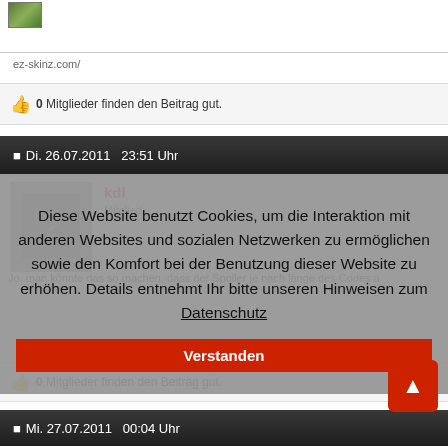[Figure (photo): Small green forum avatar thumbnail in top left]
ez-skinz.com/
👍 0  Mitglieder finden den Beitrag gut.
Di. 26.07.2011   23:51 Uhr
kdl
Mitglied
Jo, man könnte das so machen, dass der Spoiler je nach länge des Codes a
0  Mitglieder finden den Beitrag gut.
Diese Website benutzt Cookies, um die Interaktion mit anderen Websites und sozialen Netzwerken zu ermöglichen sowie den Komfort bei der Benutzung dieser Website zu erhöhen. Details entnehmt Ihr bitte unseren Hinweisen zum Datenschutz
Verstanden
Mi. 27.07.2011   00:04 Uhr